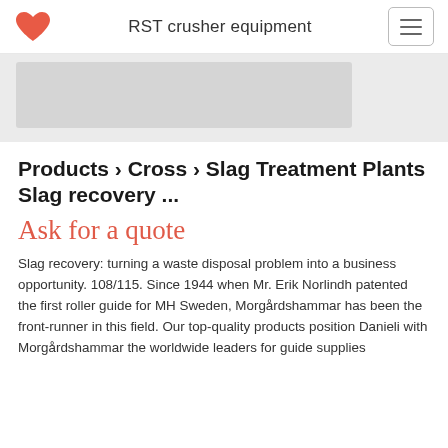RST crusher equipment
[Figure (photo): Hero banner image with a light gray rectangular placeholder area suggesting a machinery or equipment photograph]
Products › Cross › Slag Treatment Plants Slag recovery ...
Ask for a quote
Slag recovery: turning a waste disposal problem into a business opportunity. 108/115. Since 1944 when Mr. Erik Norlindh patented the first roller guide for MH Sweden, Morgårdshammar has been the front-runner in this field. Our top-quality products position Danieli with Morgårdshammar the worldwide leaders for guide supplies